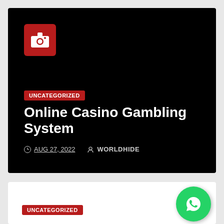[Figure (screenshot): Black card with camera icon, UNCATEGORIZED badge, article title, date and author metadata]
Online Casino Gambling System
AUG 27, 2022  WORLDHIDE
[Figure (screenshot): White card partially visible with UNCATEGORIZED badge and WhatsApp icon button]